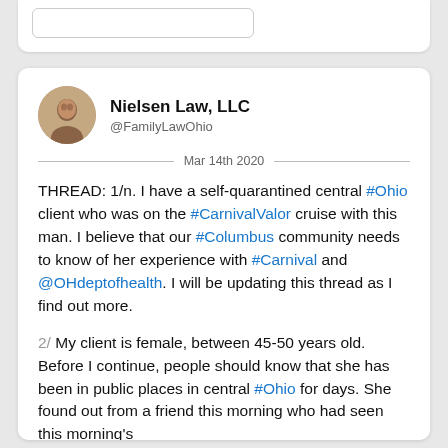[Figure (screenshot): Top portion of a previous tweet card, partially visible at the top of the page]
Nielsen Law, LLC
@FamilyLawOhio
Mar 14th 2020
THREAD: 1/n. I have a self-quarantined central #Ohio client who was on the #CarnivalValor cruise with this man. I believe that our #Columbus community needs to know of her experience with #Carnival and @OHdeptofhealth. I will be updating this thread as I find out more.
2/ My client is female, between 45-50 years old. Before I continue, people should know that she has been in public places in central #Ohio for days. She found out from a friend this morning who had seen this morning's
Read 21 tweets